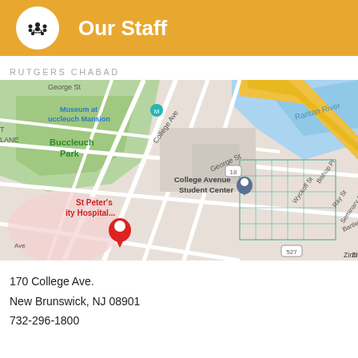[Figure (logo): Gold banner with circular white logo containing a group meeting icon and bold white text 'Our Staff']
RUTGERS CHABAD
[Figure (map): Google Maps screenshot showing area around Rutgers University including Buccleuch Park, College Avenue Student Center, St Peter's University Hospital, Raritan River, with a red pin marker]
170 College Ave.
New Brunswick, NJ 08901
732-296-1800